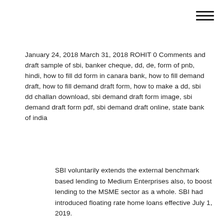January 24, 2018 March 31, 2018 ROHIT 0 Comments and draft sample of sbi, banker cheque, dd, de, form of pnb, hindi, how to fill dd form in canara bank, how to fill demand draft, how to fill demand draft form, how to make a dd, sbi dd challan download, sbi demand draft form image, sbi demand draft form pdf, sbi demand draft online, state bank of india
SBI voluntarily extends the external benchmark based lending to Medium Enterprises also, to boost lending to the MSME sector as a whole. SBI had introduced floating rate home loans effective July 1, 2019.